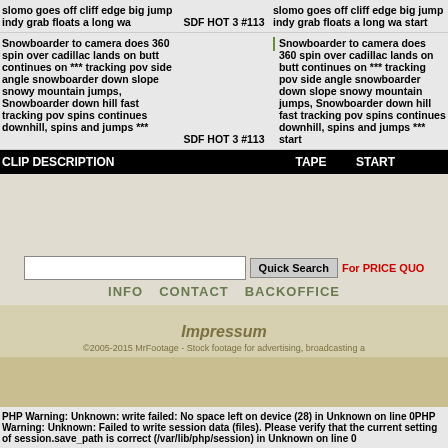slomo goes off cliff edge big jump indy grab floats a long wa | SDF HOT 3 #113 | slomo goes off cliff edge big jump indy grab floats a long wa start
Snowboarder to camera does 360 spin over cadillac lands on butt continues on *** tracking pov side angle snowboarder down slope snowy mountain jumps, Snowboarder down hill fast tracking pov spins continues downhill, spins and jumps *** | SDF HOT 3 #113 | Snowboarder to camera does 360 spin over cadillac lands on butt continues on *** tracking pov side angle snowboarder down slope snowy mountain jumps, Snowboarder down hill fast tracking pov spins continues downhill, spins and jumps *** start
CLIP DESCRIPTION | TAPE | START
Quick Search | For PRICE QUO...
INFO   CONTACT   BACKOFFICE
Impressum
©2005-2015 MrFootage - Stock footage for advertising, broadcasting a...
PHP Warning: Unknown: write failed: No space left on device (28) in Unknown on line 0PHP Warning: Unknown: Failed to write session data (files). Please verify that the current setting of session.save_path is correct (/var/lib/php/session) in Unknown on line 0